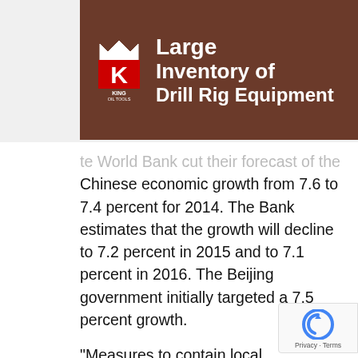[Figure (other): King Oil Tools advertisement banner: 'Large Inventory of Drill Rig Equipment' with red K logo on brown/dark background]
the World Bank cut their forecast of the Chinese economic growth from 7.6 to 7.4 percent for 2014. The Bank estimates that the growth will decline to 7.2 percent in 2015 and to 7.1 percent in 2016. The Beijing government initially targeted a 7.5 percent growth.
“Measures to contain local government debt, curb shadow banking, and tackle excess capacity, high energy demand, and high pollution will reduce investment and manufacturing output,” the World Bank report